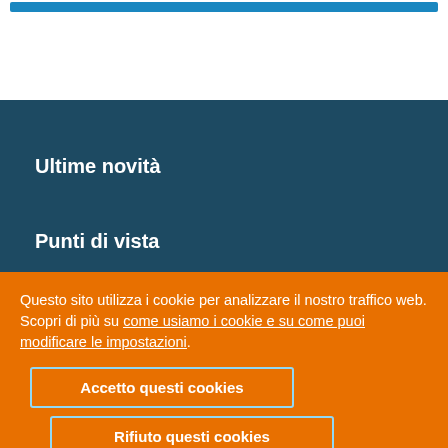Ultime novità
Punti di vista
Risorse didattiche
Teacher Academy
Opportunità Erasmus+
Questo sito utilizza i cookie per analizzare il nostro traffico web. Scopri di più su come usiamo i cookie e su come puoi modificare le impostazioni.
Accetto questi cookies
Rifiuto questi cookies